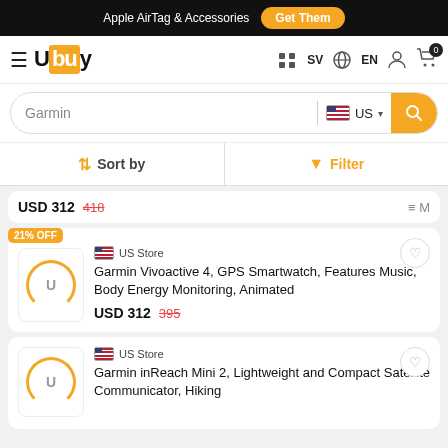Apple AirTag & Accessories  Get Them
Ubuy SV EN
Garmin (search query)
Sort by  Filter
USD 312  418
21% OFF
US Store
Garmin Vivoactive 4, GPS Smartwatch, Features Music, Body Energy Monitoring, Animated
USD 312  395
US Store
Garmin inReach Mini 2, Lightweight and Compact Satellite Communicator, Hiking